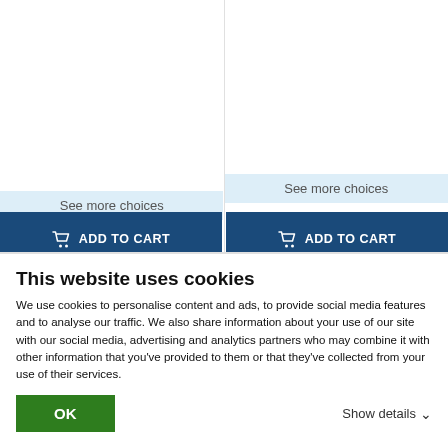See more choices
Spider-Man: Far From Home
See more choices
Spider-Man: Far From Home / Spider-Man: Homecoming
ADD TO CART
ADD TO CART
This website uses cookies
We use cookies to personalise content and ads, to provide social media features and to analyse our traffic. We also share information about your use of our site with our social media, advertising and analytics partners who may combine it with other information that you've provided to them or that they've collected from your use of their services.
OK
Show details